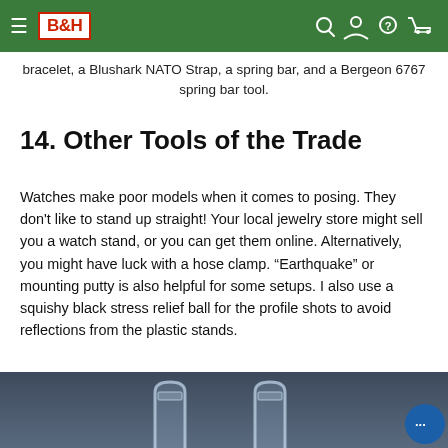B&H [navigation bar with hamburger menu, B&H logo, search, account, help, cart icons]
bracelet, a Blushark NATO Strap, a spring bar, and a Bergeon 6767 spring bar tool.
14. Other Tools of the Trade
Watches make poor models when it comes to posing. They don't like to stand up straight! Your local jewelry store might sell you a watch stand, or you can get them online. Alternatively, you might have luck with a hose clamp. “Earthquake” or mounting putty is also helpful for some setups. I also use a squishy black stress relief ball for the profile shots to avoid reflections from the plastic stands.
[Figure (photo): Bottom portion of a photo showing transparent/clear plastic hose clamps or watch stands on a dark blue-grey background]